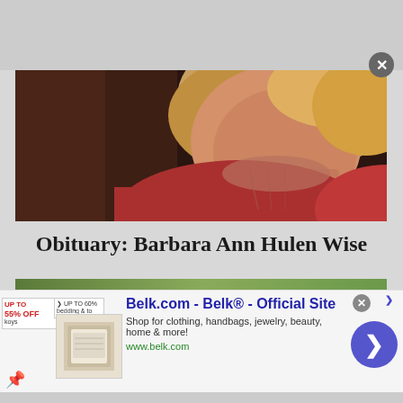[Figure (photo): Close-up photo of a woman with blonde/reddish hair wearing a red top, dark wooden background visible]
Obituary: Barbara Ann Hulen Wise
[Figure (screenshot): Advertisement banner for Belk.com - Belk Official Site. Shop for clothing, handbags, jewelry, beauty, home & more! www.belk.com]